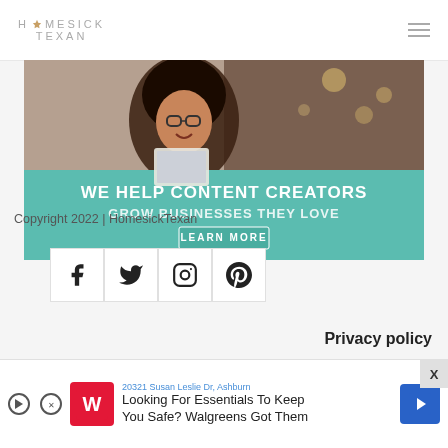HOMESICK TEXAN
[Figure (photo): Website screenshot showing a smiling woman with curly hair and glasses looking at a tablet/laptop, with teal overlay banner reading 'WE HELP CONTENT CREATORS GROW BUSINESSES THEY LOVE' and a 'LEARN MORE' button]
Copyright 2022 | HomesickTexan
[Figure (infographic): Social media icon buttons: Facebook, Twitter, Instagram, Pinterest on white square backgrounds]
Privacy policy
[Figure (screenshot): Advertisement banner: Walgreens ad with text '20321 Susan Leslie Dr, Ashburn' and 'Looking For Essentials To Keep You Safe? Walgreens Got Them']